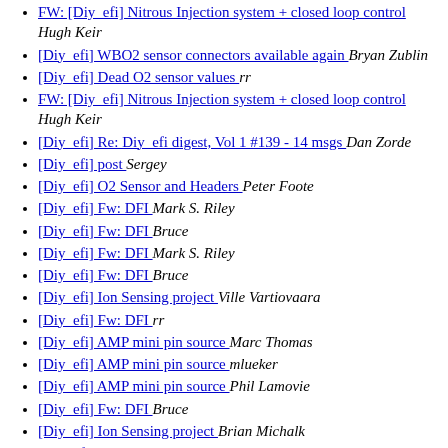FW: [Diy_efi] Nitrous Injection system + closed loop control  Hugh Keir
[Diy_efi] WBO2 sensor connectors available again  Bryan Zublin
[Diy_efi] Dead O2 sensor values  rr
FW: [Diy_efi] Nitrous Injection system + closed loop control  Hugh Keir
[Diy_efi] Re: Diy_efi digest, Vol 1 #139 - 14 msgs  Dan Zorde
[Diy_efi] post  Sergey
[Diy_efi] O2 Sensor and Headers  Peter Foote
[Diy_efi] Fw: DFI  Mark S. Riley
[Diy_efi] Fw: DFI  Bruce
[Diy_efi] Fw: DFI  Mark S. Riley
[Diy_efi] Fw: DFI  Bruce
[Diy_efi] Ion Sensing project  Ville Vartiovaara
[Diy_efi] Fw: DFI  rr
[Diy_efi] AMP mini pin source  Marc Thomas
[Diy_efi] AMP mini pin source  mlueker
[Diy_efi] AMP mini pin source  Phil Lamovie
[Diy_efi] Fw: DFI  Bruce
[Diy_efi] Ion Sensing project  Brian Michalk
[Diy_efi] Ion Sensing project  Brian Michalk
[Diy_efi] Ion Sensing project  Ville Vartiovaara
[Diy_efi] Ion Sensing project  William Shurvinton
[Diy_efi] Ion Sensing project  Ville Varti...